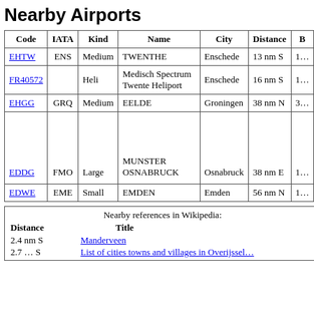Nearby Airports
| Code | IATA | Kind | Name | City | Distance | B… |
| --- | --- | --- | --- | --- | --- | --- |
| EHTW | ENS | Medium | TWENTHE | Enschede | 13 nm S | 1… |
| FR40572 |  | Heli | Medisch Spectrum Twente Heliport | Enschede | 16 nm S | 1… |
| EHGG | GRQ | Medium | EELDE | Groningen | 38 nm N | 3… |
| EDDG | FMO | Large | MUNSTER OSNABRUCK | Osnabruck | 38 nm E | 1… |
| EDWE | EME | Small | EMDEN | Emden | 56 nm N | 1… |
Nearby references in Wikipedia:
| Distance | Title |
| --- | --- |
| 2.4 nm S | Manderveen |
| 2.7… S | List of cities… |